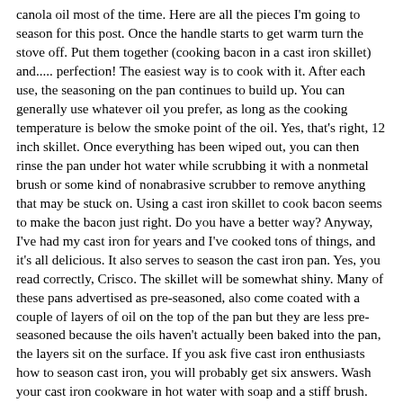canola oil most of the time. Here are all the pieces I'm going to season for this post. Once the handle starts to get warm turn the stove off. Put them together (cooking bacon in a cast iron skillet) and..... perfection! The easiest way is to cook with it. After each use, the seasoning on the pan continues to build up. You can generally use whatever oil you prefer, as long as the cooking temperature is below the smoke point of the oil. Yes, that's right, 12 inch skillet. Once everything has been wiped out, you can then rinse the pan under hot water while scrubbing it with a nonmetal brush or some kind of nonabrasive scrubber to remove anything that may be stuck on. Using a cast iron skillet to cook bacon seems to make the bacon just right. Do you have a better way? Anyway, I've had my cast iron for years and I've cooked tons of things, and it's all delicious. It also serves to season the cast iron pan. Yes, you read correctly, Crisco. The skillet will be somewhat shiny. Many of these pans advertised as pre-seasoned, also come coated with a couple of layers of oil on the top of the pan but they are less pre-seasoned because the oils haven't actually been baked into the pan, the layers sit on the surface. If you ask five cast iron enthusiasts how to season cast iron, you will probably get six answers. Wash your cast iron cookware in hot water with soap and a stiff brush. Cast iron bacon presses have so many more uses than only for cooking bacon perfectly. One of the biggest benefits of using a well-seasoned cast iron pan is the fact that the pan will continue to improve with use. Cook your breakfast on there. However, they can provide you with a pretty good head start for seasoning the pan.